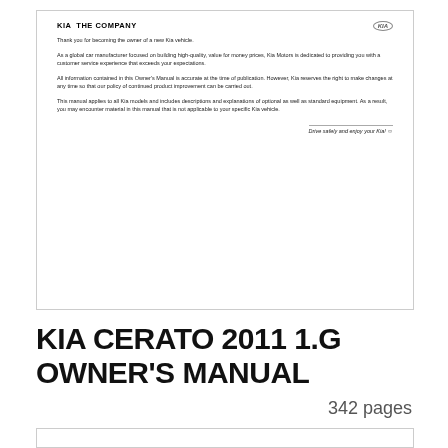[Figure (screenshot): Preview of a Kia Owner's Manual page showing 'KIA THE COMPANY' header with KIA logo oval, followed by three paragraphs of introductory text and a closing italic signature line 'Drive safely and enjoy your Kia!']
KIA CERATO 2011 1.G OWNER'S MANUAL
342 pages
[Figure (screenshot): Partial preview of another document page, mostly blank/white]